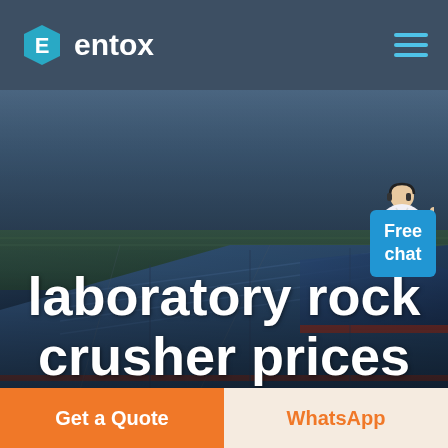[Figure (logo): Entox company logo with hexagon icon containing letter E and white text 'entox' on dark blue-gray header bar]
[Figure (photo): Aerial photograph of an industrial factory complex with large blue-roofed warehouses and surrounding landscape, used as hero background image]
laboratory rock crusher prices
Free chat
Get a Quote
WhatsApp